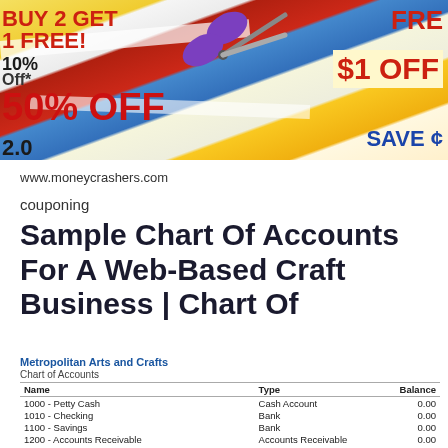[Figure (photo): Photo of colorful discount coupons spread out with a purple pair of scissors on top. Visible text on coupons includes '50% OFF', 'BUY 2 GET 1 FREE', '$1 OFF', 'SAVE', '10% off'.]
www.moneycrashers.com
couponing
Sample Chart Of Accounts For A Web-Based Craft Business | Chart Of
| Name | Type | Balance |
| --- | --- | --- |
| 1000 - Petty Cash | Cash Account | 0.00 |
| 1010 - Checking | Bank | 0.00 |
| 1100 - Savings | Bank | 0.00 |
| 1200 - Accounts Receivable | Accounts Receivable | 0.00 |
| 1230 - Prepaid Expenses | Other Current Asset | 0.00 |
| 1300 - Inventory of Items for Sale | Inventory Asset | 0.00 |
| 1425 - Office Furniture & Fixtures | Fixed Asset | 0.00 |
| 1435 - Vehicles | Fixed Asset | 0.00 |
| 1460 - Accumulated depreciation - Other | Fixed Asset | 0.00 |